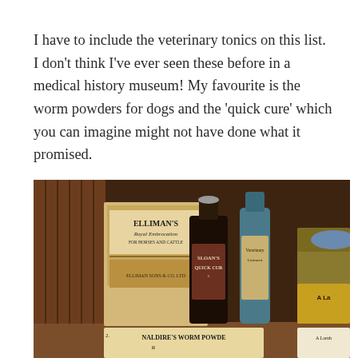I have to include the veterinary tonics on this list. I don't think I've ever seen these before in a medical history museum! My favourite is the worm powders for dogs and the 'quick cure' which you can imagine might not have done what it promised.
[Figure (photo): Photograph of antique veterinary medicine bottles and packages on a shelf, including Elliman's Royal Embrocation for horses and cattle, Sloan's Quick Cure bottle, and Naldire's Worm Powder packet.]